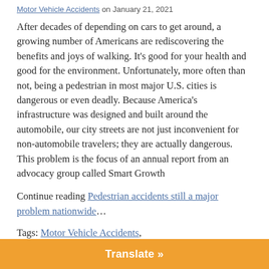Motor Vehicle Accidents on January 21, 2021
After decades of depending on cars to get around, a growing number of Americans are rediscovering the benefits and joys of walking. It’s good for your health and good for the environment. Unfortunately, more often than not, being a pedestrian in most major U.S. cities is dangerous or even deadly. Because America’s infrastructure was designed and built around the automobile, our city streets are not just inconvenient for non-automobile travelers; they are actually dangerous. This problem is the focus of an annual report from an advocacy group called Smart Growth
Continue reading Pedestrian accidents still a major problem nationwide…
Tags: Motor Vehicle Accidents,
Translate »